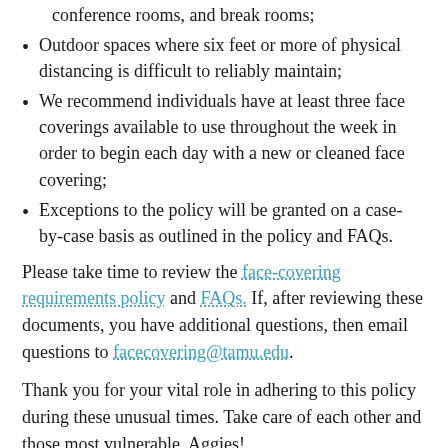conference rooms, and break rooms;
Outdoor spaces where six feet or more of physical distancing is difficult to reliably maintain;
We recommend individuals have at least three face coverings available to use throughout the week in order to begin each day with a new or cleaned face covering;
Exceptions to the policy will be granted on a case-by-case basis as outlined in the policy and FAQs.
Please take time to review the face-covering requirements policy and FAQs. If, after reviewing these documents, you have additional questions, then email questions to facecovering@tamu.edu.
Thank you for your vital role in adhering to this policy during these unusual times. Take care of each other and those most vulnerable, Aggies!